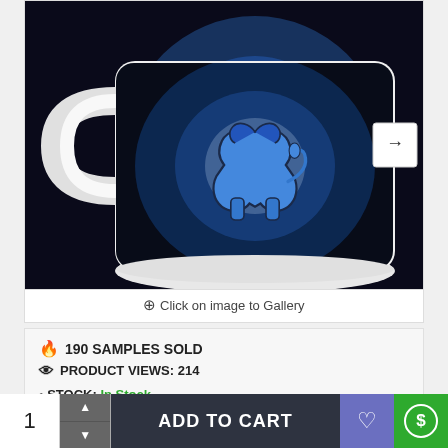[Figure (photo): White ceramic coffee mug with Detroit Lions NFL team logo on a dark blue/black smoky background. The mug handle faces left and is white. A navigation arrow button is visible on the right side of the image frame.]
Click on image to Gallery
190 SAMPLES SOLD
PRODUCT VIEWS: 214
STOCK: In Stock
MODEL: MUGS-11373602